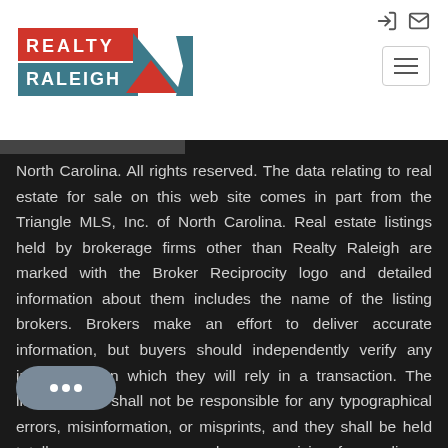[Figure (logo): Realty Raleigh logo with red and teal/blue triangles and text]
North Carolina. All rights reserved. The data relating to real estate for sale on this web site comes in part from the Triangle MLS, Inc. of North Carolina. Real estate listings held by brokerage firms other than Realty Raleigh are marked with the Broker Reciprocity logo and detailed information about them includes the name of the listing brokers. Brokers make an effort to deliver accurate information, but buyers should independently verify any information on which they will rely in a transaction. The listing broker shall not be responsible for any typographical errors, misinformation, or misprints, and they shall be held totally harmless from any damages arising from reliance upon this data. Data is provided exclusively for consumer's personal, noncommercial use. Closed (sold) listings may have been listed